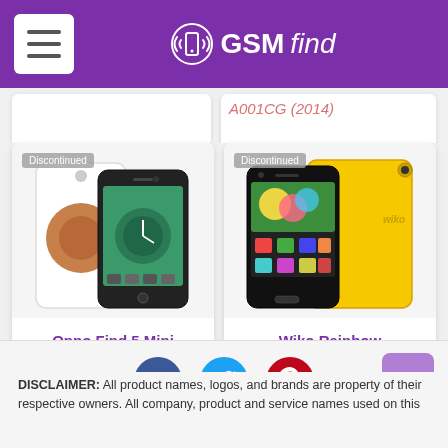GSMfind
[Figure (screenshot): Partial phone card cropped at top - left card blank, right card shows 'A001CG (2014)' text]
[Figure (photo): Oppo Find 5 Mini smartphone product image showing white back and black front with Android interface, marked Discontinued]
Oppo Find 5 Mini
[Figure (photo): Wiko Rainbow smartphone product image showing yellow back and black front with colorful Android interface, marked Discontinued]
Wiko Rainbow
[Figure (infographic): Social media share icons: Facebook (blue circle), Twitter (light blue circle), Pinterest (red circle), and scroll-to-top button (purple)]
DISCLAIMER: All product names, logos, and brands are property of their respective owners. All company, product and service names used on this